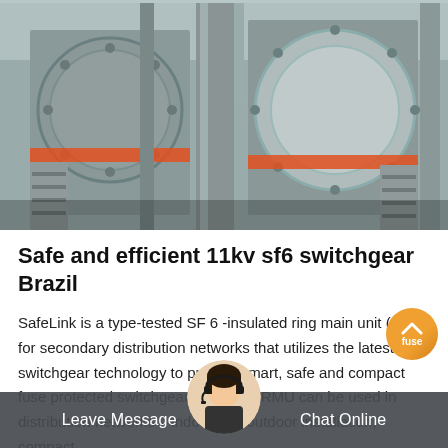[Figure (photo): Industrial SF6 switchgear equipment installed indoors, showing large circular flanged components on metal frames with pipes and cables, industrial setting.]
Safe and efficient 11kv sf6 switchgear Brazil
SafeLink is a type-tested SF 6 -insulated ring main unit (RMU) for secondary distribution networks that utilizes the latest in switchgear technology to provide smart, safe and compact fuse protected switchgear solutions. RMU can be used in distribution networks – indoor and outdoor installation; compact